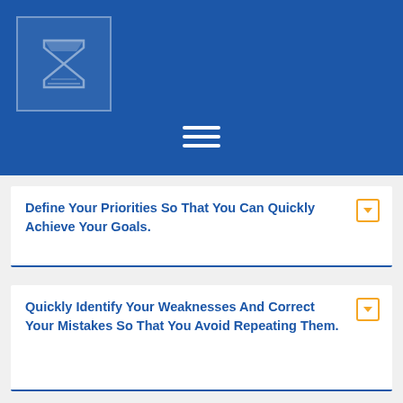[Figure (logo): Hourglass/book logo icon in a bordered box on blue banner header with hamburger menu icon]
Define Your Priorities So That You Can Quickly Achieve Your Goals.
Quickly Identify Your Weaknesses And Correct Your Mistakes So That You Avoid Repeating Them.